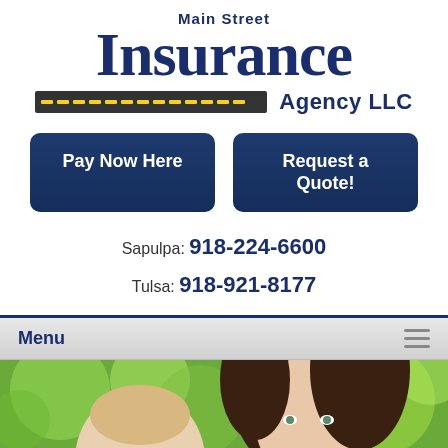[Figure (logo): Main Street Insurance Agency LLC logo with road graphic]
Pay Now Here
Request a Quote!
Sapulpa: 918-224-6600
Tulsa: 918-921-8177
Menu
[Figure (photo): Mother holding baby outdoors with green bokeh background]